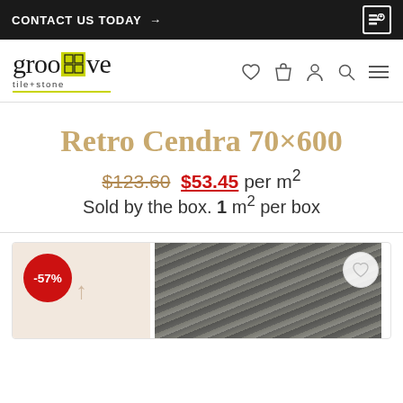CONTACT US TODAY →
[Figure (logo): Groove tile+stone logo with yellow-green grid box icon and underline]
Retro Cendra 70×600
$123.60 $53.45 per m² Sold by the box. 1 m² per box
[Figure (photo): Product tile image showing stone/concrete grey texture, with -57% red discount badge and wishlist heart icon]